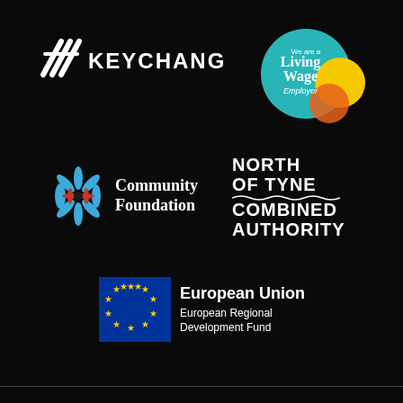[Figure (logo): Keychange logo: white lightning bolt icon followed by KEYCHANGE text in white on black background]
[Figure (logo): We are a Living Wage Employer badge: circular teal badge with text, overlapping yellow and orange circles]
[Figure (logo): Community Foundation logo: circular flower/petal icon in blue and red, followed by Community Foundation text in white]
[Figure (logo): North of Tyne Combined Authority logo: white bold text on black background reading NORTH OF TYNE with wavy line, then COMBINED AUTHORITY]
[Figure (logo): European Union European Regional Development Fund logo: blue rectangle with EU stars circle, followed by European Union text and European Regional Development Fund subtitle]